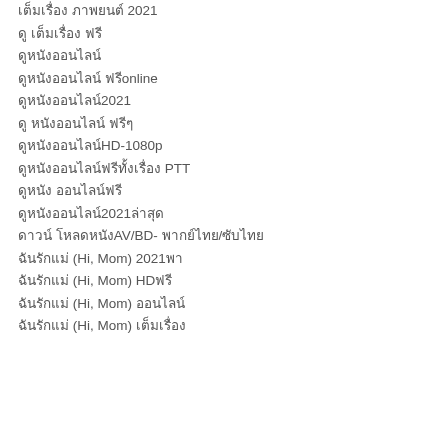เต็มเรื่อง ภาพยนต์ 2021
ดู เต็มเรื่อง ฟรี
ดูหนังออนไลน์
ดูหนังออนไลน์ ฟรีonline
ดูหนังออนไลน์2021
ดู หนังออนไลน์ ฟรีๆ
ดูหนังออนไลน์HD-1080p
ดูหนังออนไลน์ฟรีทั้งเรื่อง PTT
ดูหนัง ออนไลน์ฟรี
ดูหนังออนไลน์2021ล่าสุด
ดาวน์ โหลดหนังAV/BD- พากย์ไทย/ซับไทย
ฉันรักแม่ (Hi, Mom) 2021พา
ฉันรักแม่ (Hi, Mom) HDฟรี
ฉันรักแม่ (Hi, Mom) ออนไลน์
ฉันรักแม่ (Hi, Mom) เต็มเรื่อง